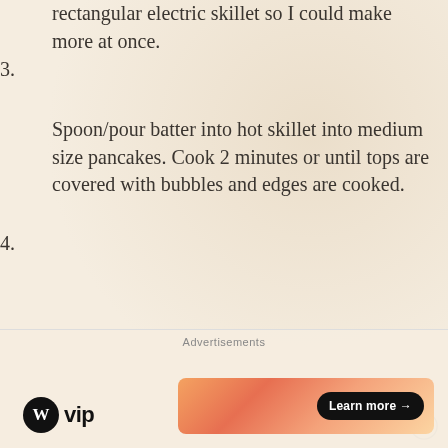rectangular electric skillet so I could make more at once.
3. Spoon/pour batter into hot skillet into medium size pancakes. Cook 2 minutes or until tops are covered with bubbles and edges are cooked.
4. Carefully flip the pancakes and cook another 1-2 minutes until done. They will be a little thicker than normal pancakes and this is fine. They're kinda like french toast pancakes.
5. [partial — text cut off]
Advertisements
[Figure (logo): WordPress VIP logo and advertisement banner with Learn more button]